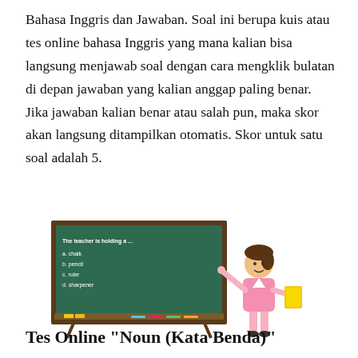Bahasa Inggris dan Jawaban. Soal ini berupa kuis atau tes online bahasa Inggris yang mana kalian bisa langsung menjawab soal dengan cara mengklik bulatan di depan jawaban yang kalian anggap paling benar. Jika jawaban kalian benar atau salah pun, maka skor akan langsung ditampilkan otomatis. Skor untuk satu soal adalah 5.
[Figure (illustration): Illustration of a teacher in pink dress holding a book and pointing at a green chalkboard with a quiz question: 'The teacher is holding a ...' with choices a. chalk, b. pencil, c. ruler, d. sharpener]
Tes Online "Noun (Kata Benda)"